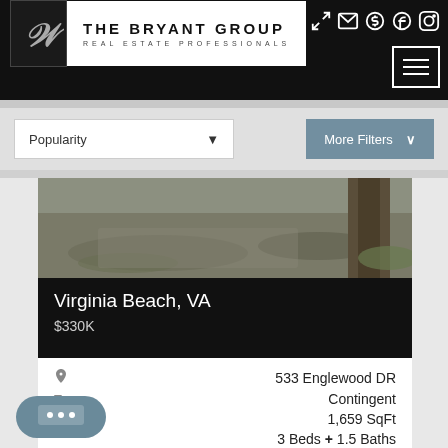[Figure (logo): The Bryant Group Real Estate Professionals logo with stylized WB monogram]
THE BRYANT GROUP REAL ESTATE PROFESSIONALS
Popularity
More Filters
[Figure (photo): Outdoor property photo showing ground and tree trunk]
Virginia Beach, VA
$330K
533 Englewood DR
Type
Contingent
1,659 SqFt
3 Beds + 1.5 Baths